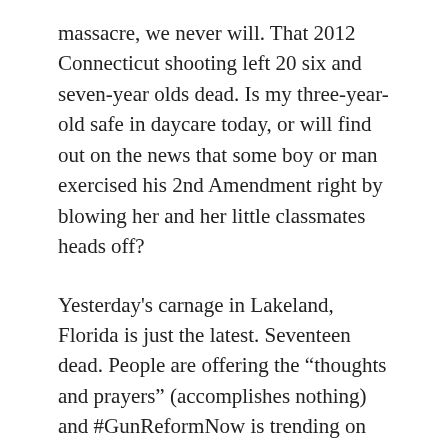massacre, we never will. That 2012 Connecticut shooting left 20 six and seven-year olds dead. Is my three-year-old safe in daycare today, or will find out on the news that some boy or man exercised his 2nd Amendment right by blowing her and her little classmates heads off?
Yesterday's carnage in Lakeland, Florida is just the latest. Seventeen dead. People are offering the “thoughts and prayers” (accomplishes nothing) and #GunReformNow is trending on Twitter (accomplishes nothing). Pundits and presidents talk about how the shooter was “deranged” (accomplishes nothing) and it will be open season on anyone with a mental health issue (accomplishes oppression, because people suffering from mental health issues are actually less violent than the average population)